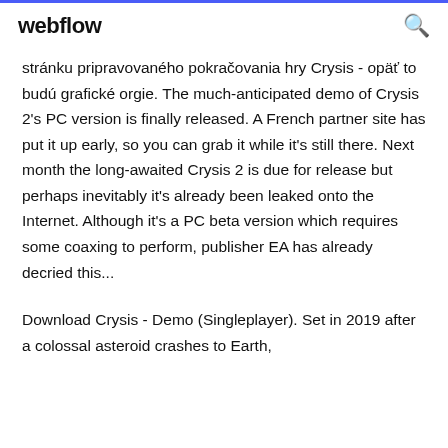webflow
stránku pripravovaného pokračovania hry Crysis - opäť to budú grafické orgie. The much-anticipated demo of Crysis 2's PC version is finally released. A French partner site has put it up early, so you can grab it while it's still there. Next month the long-awaited Crysis 2 is due for release but perhaps inevitably it's already been leaked onto the Internet. Although it's a PC beta version which requires some coaxing to perform, publisher EA has already decried this...
Download Crysis - Demo (Singleplayer). Set in 2019 after a colossal asteroid crashes to Earth,